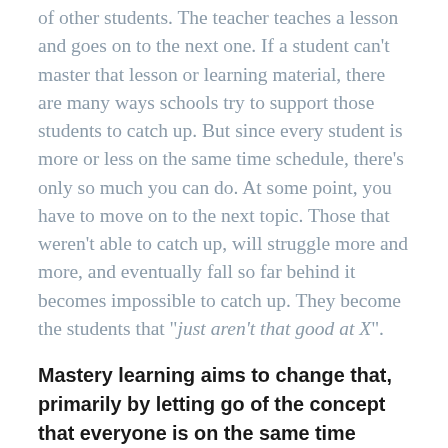of other students. The teacher teaches a lesson and goes on to the next one. If a student can't master that lesson or learning material, there are many ways schools try to support those students to catch up. But since every student is more or less on the same time schedule, there's only so much you can do. At some point, you have to move on to the next topic. Those that weren't able to catch up, will struggle more and more, and eventually fall so far behind it becomes impossible to catch up. They become the students that "just aren't that good at X".
Mastery learning aims to change that, primarily by letting go of the concept that everyone is on the same time schedule. It requires more differentiated learning, giving students more time to go over the learning material, giving them extra